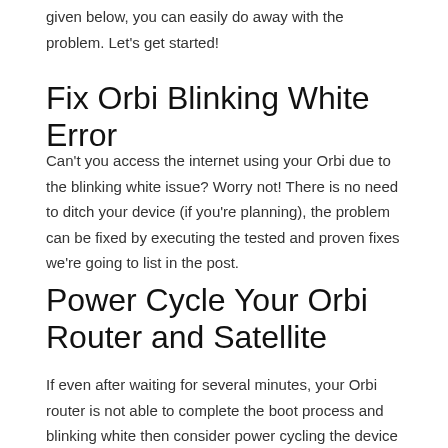given below, you can easily do away with the problem. Let's get started!
Fix Orbi Blinking White Error
Can't you access the internet using your Orbi due to the blinking white issue? Worry not! There is no need to ditch your device (if you're planning), the problem can be fixed by executing the tested and proven fixes we're going to list in the post.
Power Cycle Your Orbi Router and Satellite
If even after waiting for several minutes, your Orbi router is not able to complete the boot process and blinking white then consider power cycling the device by unplugging its power adapter from the electric outlet. Once done, plug in the device back to its power